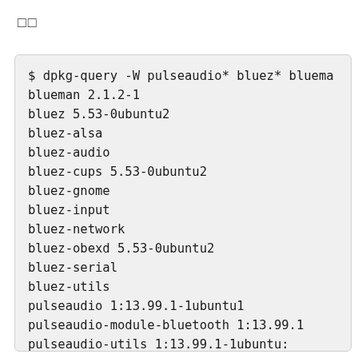□□
[Figure (screenshot): Terminal output showing dpkg-query command listing bluetooth and pulseaudio packages with versions, followed by lsb_release -dr command showing Ubuntu Focal Fossa description.]